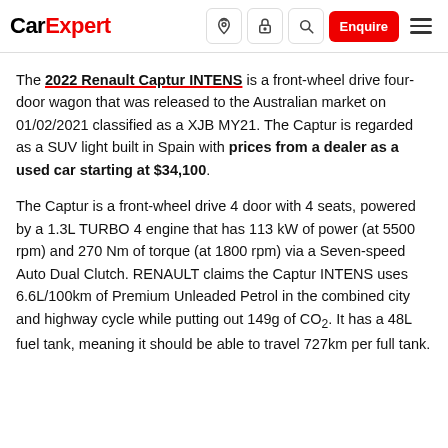CarExpert — navigation bar with logo, icons, Enquire button, and menu
The 2022 Renault Captur INTENS is a front-wheel drive four-door wagon that was released to the Australian market on 01/02/2021 classified as a XJB MY21. The Captur is regarded as a SUV light built in Spain with prices from a dealer as a used car starting at $34,100.
The Captur is a front-wheel drive 4 door with 4 seats, powered by a 1.3L TURBO 4 engine that has 113 kW of power (at 5500 rpm) and 270 Nm of torque (at 1800 rpm) via a Seven-speed Auto Dual Clutch. RENAULT claims the Captur INTENS uses 6.6L/100km of Premium Unleaded Petrol in the combined city and highway cycle while putting out 149g of CO2. It has a 48L fuel tank, meaning it should be able to travel 727km per full tank.